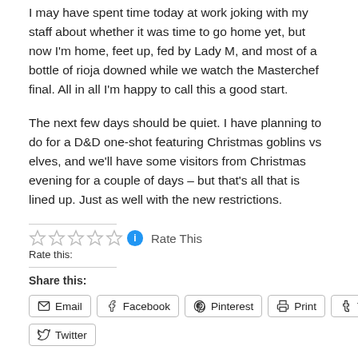I may have spent time today at work joking with my staff about whether it was time to go home yet, but now I'm home, feet up, fed by Lady M, and most of a bottle of rioja downed while we watch the Masterchef final. All in all I'm happy to call this a good start.
The next few days should be quiet. I have planning to do for a D&D one-shot featuring Christmas goblins vs elves, and we'll have some visitors from Christmas evening for a couple of days – but that's all that is lined up. Just as well with the new restrictions.
Rate this: ☆☆☆☆☆ ℹ Rate This
Share this:
Email | Facebook | Pinterest | Print | Tumblr
Twitter